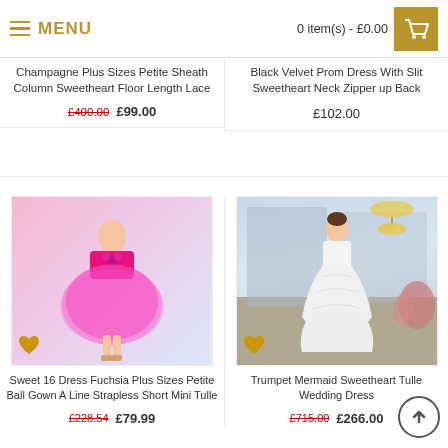MENU | 0 item(s) - £0.00
Champagne Plus Sizes Petite Sheath Column Sweetheart Floor Length Lace
£400.00  £99.00
Black Velvet Prom Dress With Slit Sweetheart Neck Zipper up Back
£102.00
[Figure (photo): Woman in short fuchsia/pink strapless ball gown tulle dress with flower detail, on gradient pink/lavender/blue background]
[Figure (photo): Woman in white mermaid/trumpet lace wedding dress in elegant room with chandelier and flowers]
Sweet 16 Dress Fuchsia Plus Sizes Petite Ball Gown A Line Strapless Short Mini Tulle
£228.54  £79.99
Trumpet Mermaid Sweetheart Tulle Wedding Dress
£715.00  £266.00